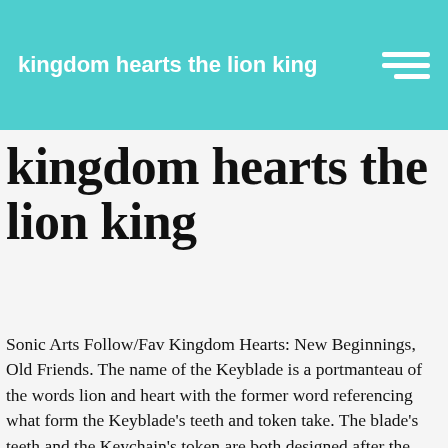kingdom hearts the lion king
kingdom hearts the lion king
Sonic Arts Follow/Fav Kingdom Hearts: New Beginnings, Old Friends. The name of the Keyblade is a portmanteau of the words lion and heart with the former word referencing what form the Keyblade's teeth and token take. The blade's teeth and the Keychain's token are both designed after the Griever necklace that Leon wears. Attach Fire Counter Drain All Critical  He has ten dark-colored whiskers, five on either side of his upper lip. Kingdom Hearts KINGDOM HEARTS (The